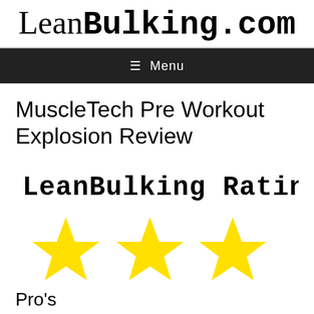LeanBulking.com
≡ Menu
MuscleTech Pre Workout Explosion Review
[Figure (infographic): LeanBulking Rating graphic with text 'LeanBulking Rating' in typewriter bold font and three yellow stars below it]
Pro's